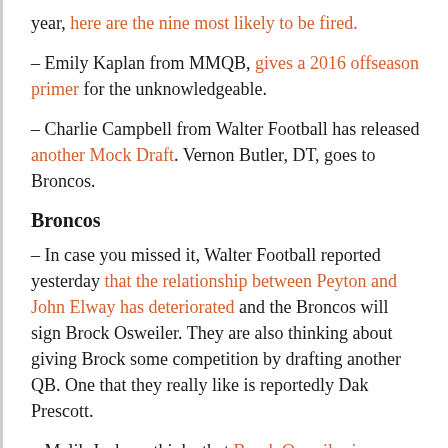year, here are the nine most likely to be fired.
– Emily Kaplan from MMQB, gives a 2016 offseason primer for the unknowledgeable.
– Charlie Campbell from Walter Football has released another Mock Draft. Vernon Butler, DT, goes to Broncos.
Broncos
– In case you missed it, Walter Football reported yesterday that the relationship between Peyton and John Elway has deteriorated and the Broncos will sign Brock Osweiler. They are also thinking about giving Brock some competition by drafting another QB. One that they really like is reportedly Dak Prescott.
– Malik Jackson thinks that Brock Osweiler is